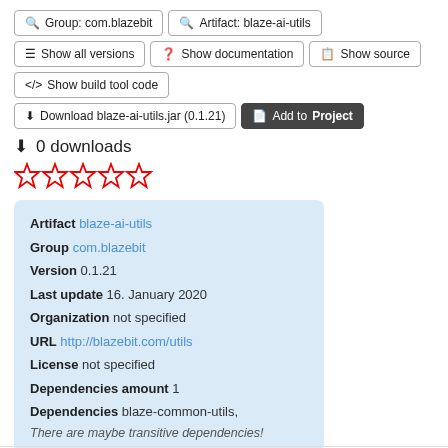Group: com.blazebit
Artifact: blaze-ai-utils
Show all versions
Show documentation
Show source
Show build tool code
Download blaze-ai-utils.jar (0.1.21)
Add to Project
0 downloads
[Figure (other): Five empty red star rating icons]
| Artifact | blaze-ai-utils |
| Group | com.blazebit |
| Version | 0.1.21 |
| Last update | 16. January 2020 |
| Organization | not specified |
| URL | http://blazebit.com/utils |
| License | not specified |
| Dependencies amount | 1 |
| Dependencies | blaze-common-utils, |
|  | There are maybe transitive dependencies! |